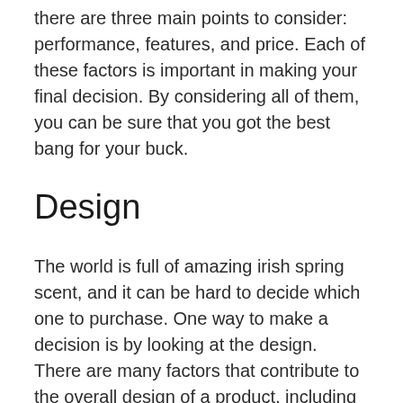there are three main points to consider: performance, features, and price. Each of these factors is important in making your final decision. By considering all of them, you can be sure that you got the best bang for your buck.
Design
The world is full of amazing irish spring scent, and it can be hard to decide which one to purchase. One way to make a decision is by looking at the design. There are many factors that contribute to the overall design of a product, including materials used in manufacturing, color scheme, and even visual weighting. Knowing about these things can help you find a